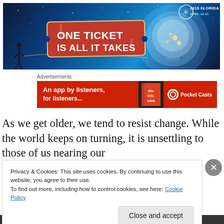[Figure (illustration): 2019 Florida Film Festival banner ad: dark blue starry background with a glowing light bulb and a silhouette of a person. Red ticket-shaped graphic reads 'ONE TICKET IS ALL IT TAKES'. Logo in top right: 2019 FLORIDA FILM FESTIVAL APRIL 12-21.]
Advertisements
[Figure (illustration): Red advertisement banner for Pocket Casts podcast app: 'An app by listeners, for listeners' with a book graphic and Pocket Casts logo.]
As we get older, we tend to resist change. While the world keeps on turning, it is unsettling to those of us nearing our
Privacy & Cookies: This site uses cookies. By continuing to use this website, you agree to their use.
To find out more, including how to control cookies, see here: Cookie Policy
Close and accept